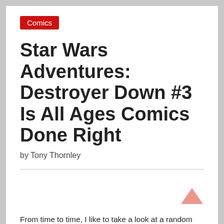Comics
Star Wars Adventures: Destroyer Down #3 Is All Ages Comics Done Right
by Tony Thornley
[Figure (other): Horizontal divider line followed by blank white image placeholder area]
From time to time, I like to take a look at a random issue of a series or a miniseries to see if its worth picking up. There's one criteria that I always use to judge those random mid-story issues on–does it remember that every issue is someone's first?